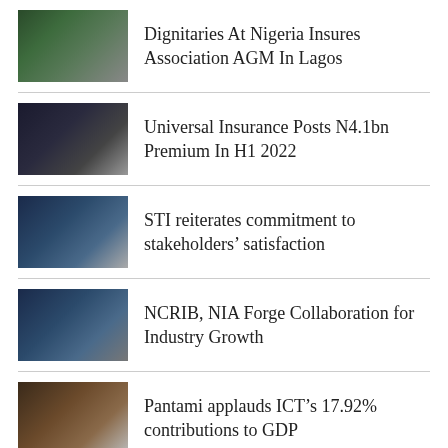Dignitaries At Nigeria Insures Association AGM In Lagos
Universal Insurance Posts N4.1bn Premium In H1 2022
STI reiterates commitment to stakeholders’ satisfaction
NCRIB, NIA Forge Collaboration for Industry Growth
Pantami applauds ICT’s 17.92% contributions to GDP
Heritage Bank tasks youth on saving toward target goals
FirstBank commemorates  annual CRS week,